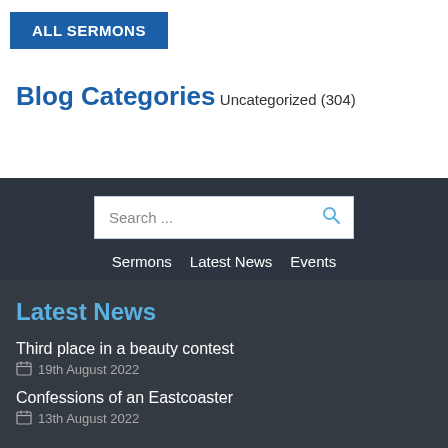ALL SERMONS
Blog Categories
Uncategorized (304)
Search ...
Sermons  Latest News  Events
Latest News
Third place in a beauty contest
19th August 2022
Confessions of an Eastcoaster
13th August 2022